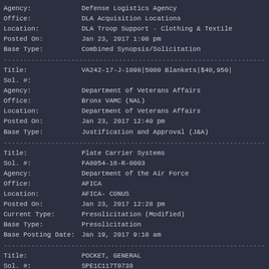Agency: Defense Logistics Agency
Office: DLA Acquisition Locations
Location: DLA Troop Support - Clothing & Textile
Posted On: Jan 23, 2017 1:08 pm
Base Type: Combined Synopsis/Solicitation
Title: VA242-17-J-1098|5000 Blankets|$40,950|
Sol. #:
Agency: Department of Veterans Affairs
Office: Bronx VAMC (NAL)
Location: Department of Veterans Affairs
Posted On: Jan 23, 2017 12:40 pm
Base Type: Justification and Approval (J&A)
Title: Plate Carrier Systems
Sol. #: FA8054-16-R-0003
Agency: Department of the Air Force
Office: AFICA
Location: AFICA- CONUS
Posted On: Jan 23, 2017 12:28 pm
Current Type: Presolicitation (Modified)
Base Type: Presolicitation
Base Posting Date: Jan 19, 2017 9:10 am
Title: POCKET, GENERAL
Sol. #: SPE1C117T0738
Agency: Defense Logistics Agency